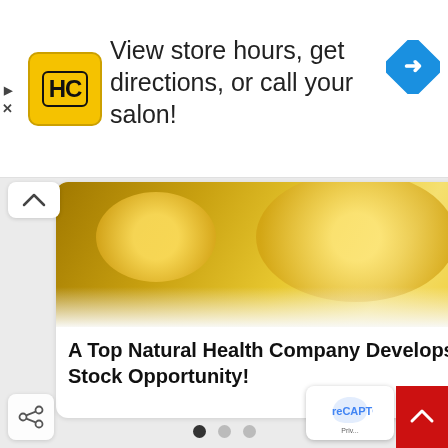[Figure (screenshot): Advertisement banner with HC (Hair Club) logo, text 'View store hours, get directions, or call your salon!', and a blue navigation/directions diamond icon. Small ad indicator arrows on left.]
[Figure (screenshot): Carousel card showing golden oil droplets image with text 'A Top Natural Health Company Develops Clean CBD Products. Stock Opportunity!' and a partially visible second card with green plant image and text 'When A T... Develops...' Carousel dots below (1 of 3 active). Below is a photo of a hand holding a pen/injector device against a green blurred background.]